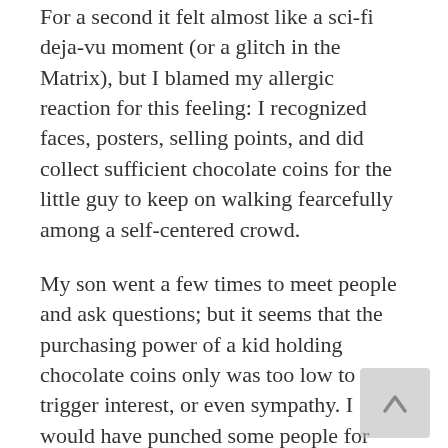For a second it felt almost like a sci-fi deja-vu moment (or a glitch in the Matrix), but I blamed my allergic reaction for this feeling: I recognized faces, posters, selling points, and did collect sufficient chocolate coins for the little guy to keep on walking fearcefully among a self-centered crowd.
My son went a few times to meet people and ask questions; but it seems that the purchasing power of a kid holding chocolate coins only was too low to trigger interest, or even sympathy. I would have punched some people for their lack of interest or even courtesy...but I was holding a helium balloon on one side, and my little person's hand on the other one.